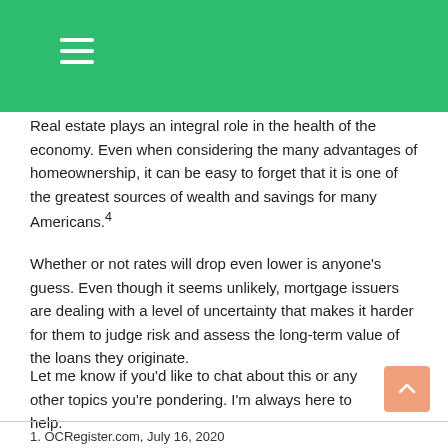Real estate plays an integral role in the health of the economy. Even when considering the many advantages of homeownership, it can be easy to forget that it is one of the greatest sources of wealth and savings for many Americans.4
Whether or not rates will drop even lower is anyone's guess. Even though it seems unlikely, mortgage issuers are dealing with a level of uncertainty that makes it harder for them to judge risk and assess the long-term value of the loans they originate.
Let me know if you'd like to chat about this or any other topics you're pondering. I'm always here to help.
1. OCRegister.com, July 16, 2020